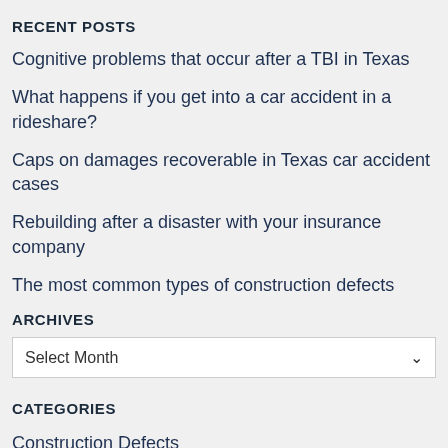RECENT POSTS
Cognitive problems that occur after a TBI in Texas
What happens if you get into a car accident in a rideshare?
Caps on damages recoverable in Texas car accident cases
Rebuilding after a disaster with your insurance company
The most common types of construction defects
ARCHIVES
Select Month
CATEGORIES
Construction Defects